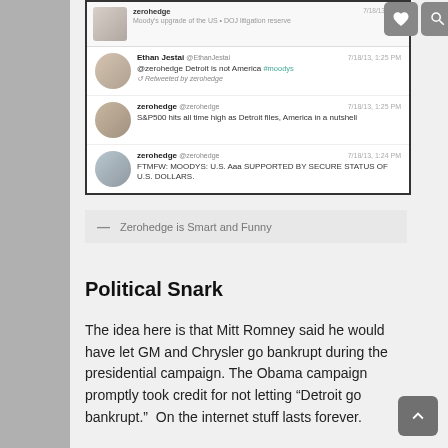[Figure (screenshot): Screenshot of a Twitter/social media feed showing tweets from zerohedge and Ethan Jestai about Detroit bankruptcy and Moody's ratings, with search and attachment icon buttons in top right corner. Attribution below reads '— Zerohedge is Smart and Funny'.]
Political Snark
The idea here is that Mitt Romney said he would have let GM and Chrysler go bankrupt during the presidential campaign. The Obama campaign promptly took credit for not letting “Detroit go bankrupt.”  On the internet stuff lasts forever.